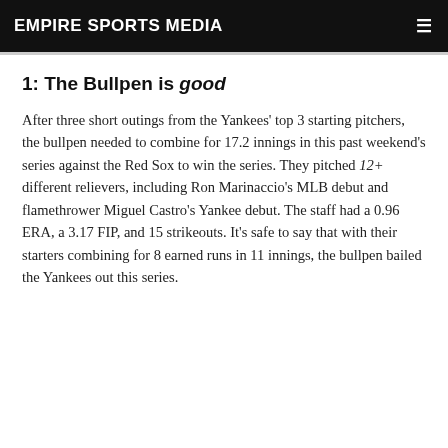EMPIRE SPORTS MEDIA
1: The Bullpen is good
After three short outings from the Yankees' top 3 starting pitchers, the bullpen needed to combine for 17.2 innings in this past weekend's series against the Red Sox to win the series. They pitched 12+ different relievers, including Ron Marinaccio's MLB debut and flamethrower Miguel Castro's Yankee debut. The staff had a 0.96 ERA, a 3.17 FIP, and 15 strikeouts. It's safe to say that with their starters combining for 8 earned runs in 11 innings, the bullpen bailed the Yankees out this series.